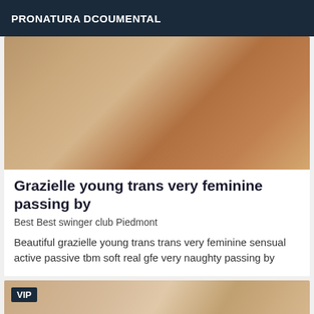PRONATURA DCOUMENTAL
[Figure (photo): Close-up photo used as card thumbnail image]
Grazielle young trans very feminine passing by
Best Best swinger club Piedmont
Beautiful grazielle young trans trans very feminine sensual active passive tbm soft real gfe very naughty passing by
[Figure (photo): Second card thumbnail photo with VIP badge overlay]